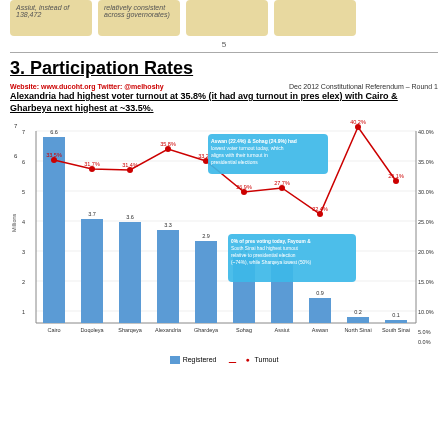Assiut, instead of 138,472
relatively consistent across governorates)
5
3. Participation Rates
Website: www.ducoht.org Twitter: @melhoshy
Dec 2012 Constitutional Referendum – Round 1
Alexandria had highest voter turnout at 35.8% (it had avg turnout in pres elex) with Cairo & Gharbeya next highest at ~33.5%.
[Figure (grouped-bar-chart): Participation Rates by Governorate]
Registered | Turnout